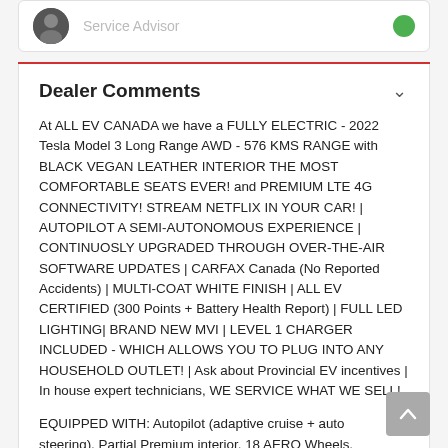[Figure (other): User avatar (dark circular profile photo) with Service Advisor label and green online indicator dot]
Dealer Comments
At ALL EV CANADA we have a FULLY ELECTRIC - 2022 Tesla Model 3 Long Range AWD - 576 KMS RANGE with BLACK VEGAN LEATHER INTERIOR THE MOST COMFORTABLE SEATS EVER! and PREMIUM LTE 4G CONNECTIVITY! STREAM NETFLIX IN YOUR CAR! | AUTOPILOT A SEMI-AUTONOMOUS EXPERIENCE | CONTINUOSLY UPGRADED THROUGH OVER-THE-AIR SOFTWARE UPDATES | CARFAX Canada (No Reported Accidents) | MULTI-COAT WHITE FINISH | ALL EV CERTIFIED (300 Points + Battery Health Report) | FULL LED LIGHTING| BRAND NEW MVI | LEVEL 1 CHARGER INCLUDED - WHICH ALLOWS YOU TO PLUG INTO ANY HOUSEHOLD OUTLET! | Ask about Provincial EV incentives | In house expert technicians, WE SERVICE WHAT WE SELL!
EQUIPPED WITH: Autopilot (adaptive cruise + auto steering), Partial Premium interior, 18 AERO Wheels, Wifi and Mobile network connectivity, Supercharger Network Access + Pay-as-